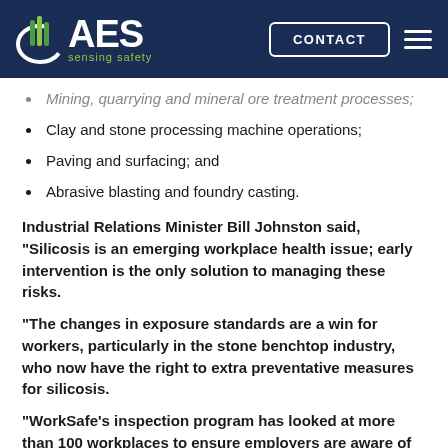[Figure (logo): AES sensing safety logo on dark navy header bar with CONTACT button and hamburger menu]
Mining, quarrying and mineral ore treatment processes;
Clay and stone processing machine operations;
Paving and surfacing; and
Abrasive blasting and foundry casting.
Industrial Relations Minister Bill Johnston said, “Silicosis is an emerging workplace health issue; early intervention is the only solution to managing these risks.
“The changes in exposure standards are a win for workers, particularly in the stone benchtop industry, who now have the right to extra preventative measures for silicosis.
“WorkSafe’s inspection program has looked at more than 100 workplaces to ensure employers are aware of the risks